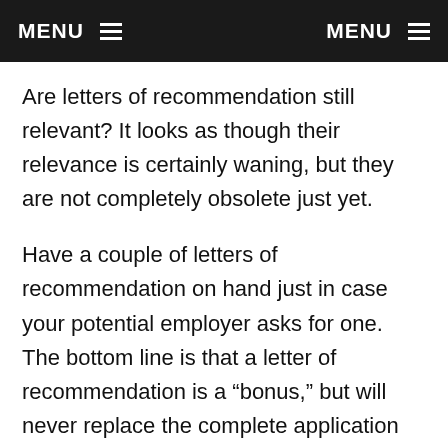MENU   MENU
Are letters of recommendation still relevant? It looks as though their relevance is certainly waning, but they are not completely obsolete just yet.
Have a couple of letters of recommendation on hand just in case your potential employer asks for one. The bottom line is that a letter of recommendation is a “bonus,” but will never replace the complete application package: a resume, a cover letter, and a LinkedIn profile. It’s these three items that will get you the interview,